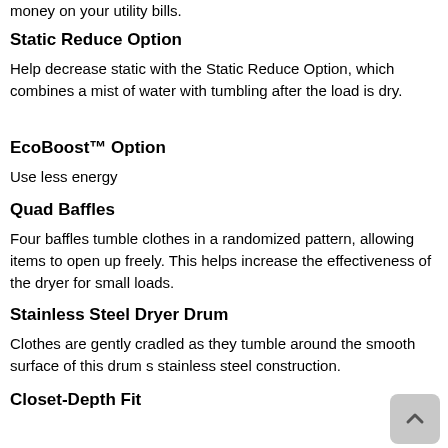money on your utility bills.
Static Reduce Option
Help decrease static with the Static Reduce Option, which combines a mist of water with tumbling after the load is dry.
EcoBoost™ Option
Use less energy
Quad Baffles
Four baffles tumble clothes in a randomized pattern, allowing items to open up freely. This helps increase the effectiveness of the dryer for small loads.
Stainless Steel Dryer Drum
Clothes are gently cradled as they tumble around the smooth surface of this drum s stainless steel construction.
Closet-Depth Fit
Get a space-saving design with closet-depth fit
An American Company for Over 100 Years
Whirlpool Corporation started in 1911 as a small company in Benton Harbor, Michigan. Today we are a global leader...